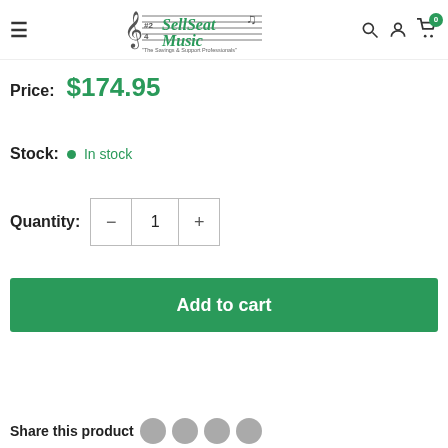SellSeat Music - The Savings & Support Professionals
Price: $174.95
Stock: In stock
Quantity: 1
Add to cart
Share this product